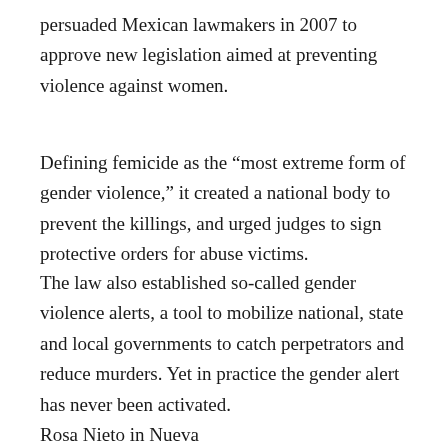persuaded Mexican lawmakers in 2007 to approve new legislation aimed at preventing violence against women.
Defining femicide as the “most extreme form of gender violence,” it created a national body to prevent the killings, and urged judges to sign protective orders for abuse victims.
The law also established so-called gender violence alerts, a tool to mobilize national, state and local governments to catch perpetrators and reduce murders. Yet in practice the gender alert has never been activated.
Rosa Nieto in Nueva...